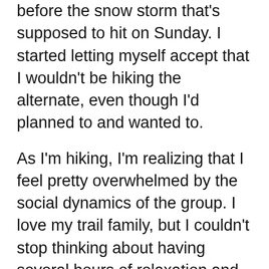before the snow storm that's supposed to hit on Sunday. I started letting myself accept that I wouldn't be hiking the alternate, even though I'd planned to and wanted to.
As I'm hiking, I'm realizing that I feel pretty overwhelmed by the social dynamics of the group. I love my trail family, but I couldn't stop thinking about having several hours of relaxation and quiet. I texted Mark (who is better at introversion than me) and he said it probably wouldn't be a bad idea for me to get my own hotel room in Idyllwild.
The idea of relaxing in a big bed and only doing what I wanted to do sounded so appealing. I